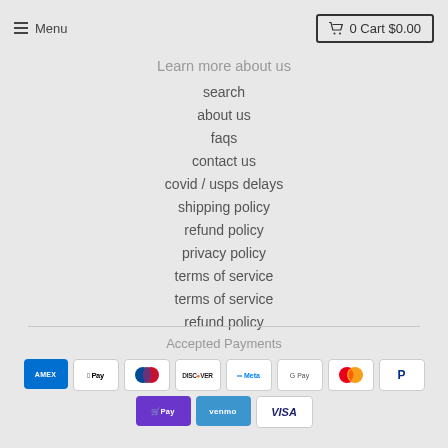Menu | 0 Cart $0.00
Learn more about us
search
about us
faqs
contact us
covid / usps delays
shipping policy
refund policy
privacy policy
terms of service
terms of service
refund policy
Accepted Payments
[Figure (other): Accepted payment method logos: Amex, Apple Pay, Diners Club, Discover, Meta Pay, Google Pay, Mastercard, PayPal, Shop Pay, Venmo, Visa]